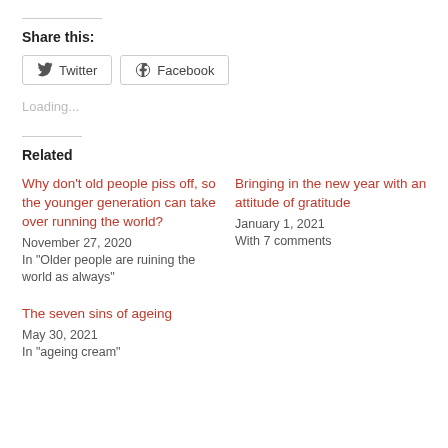Share this:
[Figure (other): Share buttons: Twitter and Facebook]
Loading...
Related
Why don't old people piss off, so the younger generation can take over running the world?
November 27, 2020
In "Older people are ruining the world as always"
Bringing in the new year with an attitude of gratitude
January 1, 2021
With 7 comments
The seven sins of ageing
May 30, 2021
In "ageing cream"